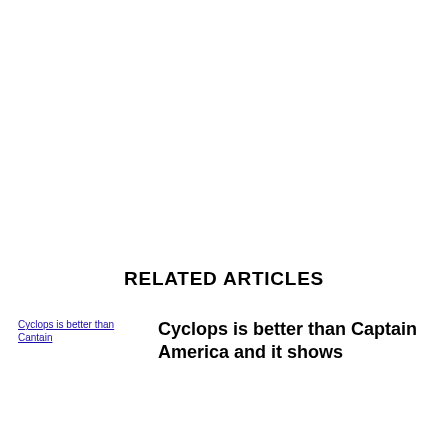RELATED ARTICLES
[Figure (photo): Broken image placeholder with alt text: Cyclops is better than Captain]
Cyclops is better than Captain America and it shows